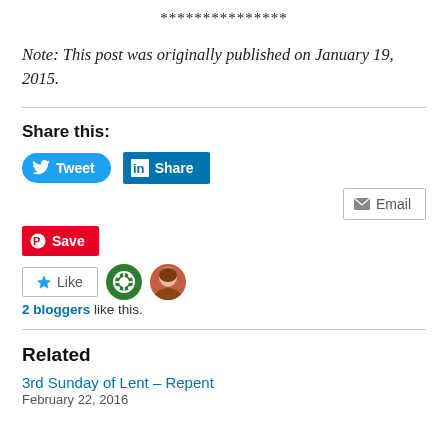***************
Note: This post was originally published on January 19, 2015.
Share this:
[Figure (other): Social share buttons: Tweet (Twitter), Share (LinkedIn), Email, Save (Pinterest)]
[Figure (other): Like button with two blogger avatars]
2 bloggers like this.
Related
3rd Sunday of Lent – Repent
February 22, 2016